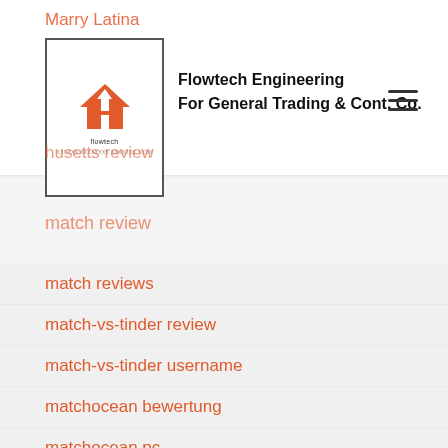Marry Latina
[Figure (logo): Flowtech Engineering logo with orange house/arrow icon inside a bordered box, with text 'flowtech' below]
Flowtech Engineering
For General Trading & Cont. Co.
husetts review
match review
match reviews
match-vs-tinder review
match-vs-tinder username
matchocean bewertung
matchocean pc
MatchOcean review
mate1 przejrze?
Mate1 review
mate1 sign in
mature dating dating
mature quality singles connexion